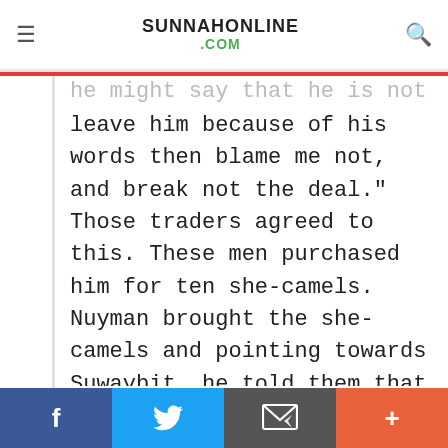SUNNAHONLINE .COM
he might say that he is not a slave. If you leave him because of his words then blame me not, and break not the deal." Those traders agreed to this. These men purchased him for ten she-camels. Nuyman brought the she-camels and pointing towards Suwaybit, he told them that that was the slave. The traders said, "We already know that you will say this," (i.e. that he was not a slave). Now the traders tied Suwaybit by his neck and wanted to take him to their place. In the
f  Twitter  Email  +